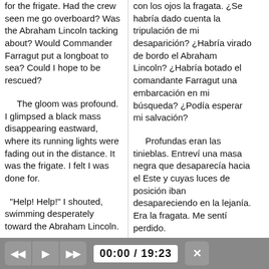for the frigate. Had the crew seen me go overboard? Was the Abraham Lincoln tacking about? Would Commander Farragut put a longboat to sea? Could I hope to be rescued?
con los ojos la fragata. ¿Se habría dado cuenta la tripulación de mi desaparición? ¿Habría virado de bordo el Abraham Lincoln? ¿Habría botado el comandante Farragut una embarcación en mi búsqueda? ¿Podía esperar mi salvación?
The gloom was profound. I glimpsed a black mass disappearing eastward, where its running lights were fading out in the distance. It was the frigate. I felt I was done for.
Profundas eran las tinieblas. Entreví una masa negra que desaparecía hacia el Este y cuyas luces de posición iban desapareciendo en la lejanía. Era la fragata. Me sentí perdido.
"Help! Help!" I shouted, swimming desperately toward the Abraham Lincoln.
-¡Socorro! ¡Socorro! -grité, mientras nadaba desesperadamente hacia el
[Figure (screenshot): Audio player bar with rewind, play, fast-forward buttons, time display showing 00:00 / 19:23, and a close button]